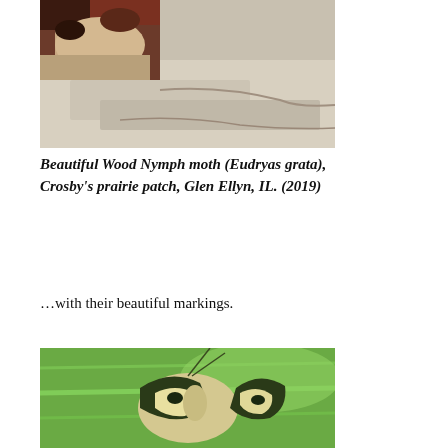[Figure (photo): Close-up photograph of a Beautiful Wood Nymph moth (Eudryas grata) resting on a rough pale textured surface, showing dark reddish-brown and cream wing coloration]
Beautiful Wood Nymph moth (Eudryas grata), Crosby's prairie patch, Glen Ellyn, IL. (2019)
…with their beautiful markings.
[Figure (photo): Close-up photograph of a Beautiful Wood Nymph moth on a green leaf, showing distinctive cream and dark green/black patterned wings with long antennae visible]